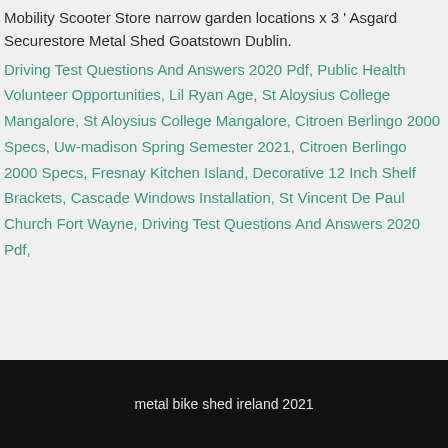Mobility Scooter Store narrow garden locations x 3 ' Asgard Securestore Metal Shed Goatstown Dublin.
Driving Test Questions And Answers 2020 Pdf, Public Health Volunteer Opportunities, Lil Ryan Age, St Aloysius College Mangalore, St Aloysius College Mangalore, Citroen Berlingo 2000 Specs, Uw-madison Spring Semester 2021, Citroen Berlingo 2000 Specs, Fresnay Kitchen Island, Decorative 12 Inch Shelf Brackets, Cascade Windows Installation, St Vincent De Paul Church Fort Wayne, Driving Test Questions And Answers 2020 Pdf,
metal bike shed ireland 2021